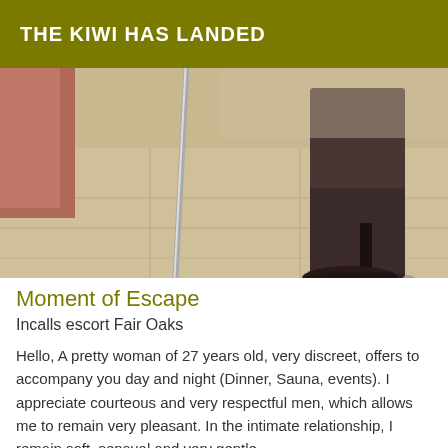THE KIWI HAS LANDED
[Figure (photo): Photo of a person's legs wearing dark high-heeled boots, standing on a tiled floor near a mirror or glass pole. The image is taken from a low angle showing only the lower legs and feet.]
Moment of Escape
Incalls escort Fair Oaks
Hello, A pretty woman of 27 years old, very discreet, offers to accompany you day and night (Dinner, Sauna, events). I appreciate courteous and very respectful men, which allows me to remain very pleasant. In the intimate relationship, I remain soft, sensual and very gentle.